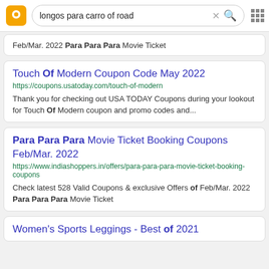longos para carro of road
Feb/Mar. 2022 Para Para Para Movie Ticket
Touch Of Modern Coupon Code May 2022
https://coupons.usatoday.com/touch-of-modern
Thank you for checking out USA TODAY Coupons during your lookout for Touch Of Modern coupon and promo codes and...
Para Para Para Movie Ticket Booking Coupons Feb/Mar. 2022
https://www.indiashoppers.in/offers/para-para-para-movie-ticket-booking-coupons
Check latest 528 Valid Coupons & exclusive Offers of Feb/Mar. 2022 Para Para Para Movie Ticket
Women's Sports Leggings - Best of 2021